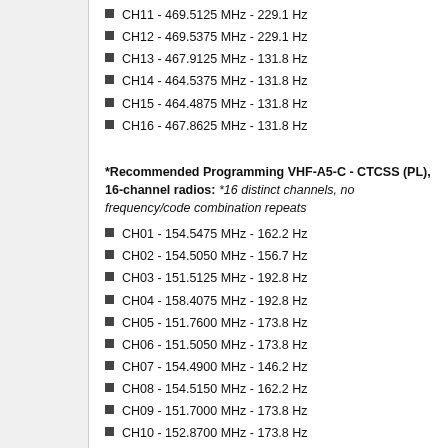CH11 - 469.5125 MHz - 229.1 Hz
CH12 - 469.5375 MHz - 229.1 Hz
CH13 - 467.9125 MHz - 131.8 Hz
CH14 - 464.5375 MHz - 131.8 Hz
CH15 - 464.4875 MHz - 131.8 Hz
CH16 - 467.8625 MHz - 131.8 Hz
*Recommended Programming VHF-A5-C - CTCSS (PL), 16-channel radios: *16 distinct channels, no frequency/code combination repeats
CH01 - 154.5475 MHz - 162.2 Hz
CH02 - 154.5050 MHz - 156.7 Hz
CH03 - 151.5125 MHz - 192.8 Hz
CH04 - 158.4075 MHz - 192.8 Hz
CH05 - 151.7600 MHz - 173.8 Hz
CH06 - 151.5050 MHz - 173.8 Hz
CH07 - 154.4900 MHz - 146.2 Hz
CH08 - 154.5150 MHz - 162.2 Hz
CH09 - 151.7000 MHz - 173.8 Hz
CH10 - 152.8700 MHz - 173.8 Hz
CH11 - 151.8050 MHz - 173.8 Hz